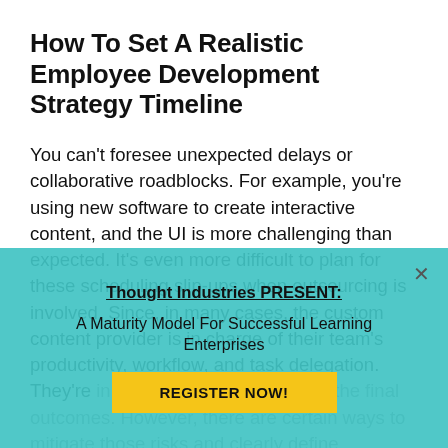How To Set A Realistic Employee Development Strategy Timeline
You can't foresee unexpected delays or collaborative roadblocks. For example, you're using new software to create interactive content, and the UI is more challenging than expected. It's even more difficult to plan for these scheduling slip-ups when outsourcing is involved. Since, in many cases, the custom content provider is in charge of their team's productivity, workflow, and task delegation. They're in the driver's seat regarding the final outcomes. However, there are certain ways to mitigate those risks and clearly define responsibilities and take custom eLearning design processes. Spoiler alert: feedback, frequent milestoning, and flexible milestones are part of the solution. A note for
[Figure (other): Popup overlay with teal background. Title: 'Thought Industries PRESENT:'. Body: 'A Maturity Model For Successful Learning Enterprises'. Button: 'REGISTER NOW!'. Close button (×) in top right.]